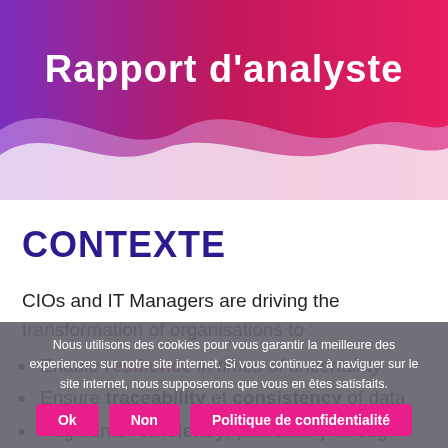[Figure (illustration): Decorative header with gradient background (purple to pink/red) and white wave shapes at the bottom, containing the title 'Rapport d’analyste' in white text.]
Rapport d’analyste
CONTEXTE
CIOs and IT Managers are driving the transformation of organisations to :
Enable resilience in times of uncertainty
Ensure traceability et consistency of data
Augmenter efficiency, particularly through
Nous utilisons des cookies pour vous garantir la meilleure des experiences sur notre site internet. Si vous continuez à naviguer sur le site internet, nous supposerons que vous en êtes satisfaits.
Ok | Non | Politique de confidentialité